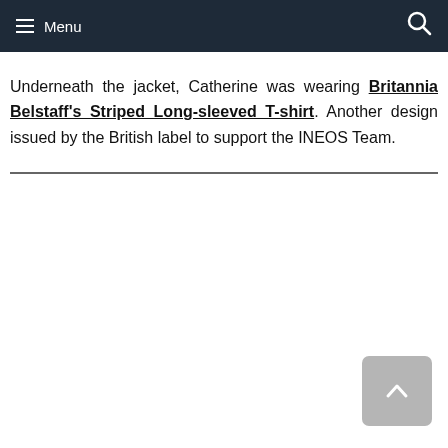Menu
Underneath the jacket, Catherine was wearing Britannia Belstaff's Striped Long-sleeved T-shirt. Another design issued by the British label to support the INEOS Team.